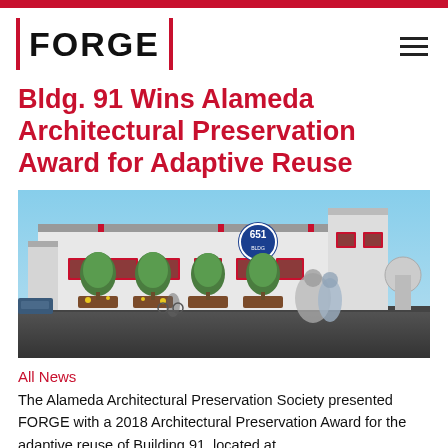FORGE
Bldg. 91 Wins Alameda Architectural Preservation Award for Adaptive Reuse
[Figure (photo): Architectural rendering of Building 91 at Alameda Point, showing a large white industrial building with red-trimmed windows, planters with trees, and pedestrians in the foreground. A circular blue sign reading '651' is visible on the building facade.]
All News
The Alameda Architectural Preservation Society presented FORGE with a 2018 Architectural Preservation Award for the adaptive reuse of Building 91, located at